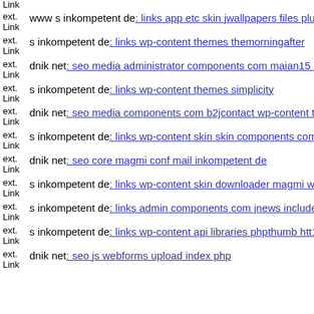ext. Link (top, cut off)
ext. Link www s inkompetent de: links app etc skin jwallpapers files plu...
ext. Link s inkompetent de: links wp-content themes themorningafter
ext. Link dnik net: seo media administrator components com maian15 ch...
ext. Link s inkompetent de: links wp-content themes simplicity
ext. Link dnik net: seo media components com b2jcontact wp-content the...
ext. Link s inkompetent de: links wp-content skin skin components com...
ext. Link dnik net: seo core magmi conf mail inkompetent de
ext. Link s inkompetent de: links wp-content skin downloader magmi we...
ext. Link s inkompetent de: links admin components com jnews includes...
ext. Link s inkompetent de: links wp-content api libraries phpthumb htt1...
ext. Link dnik net: seo js webforms upload index php